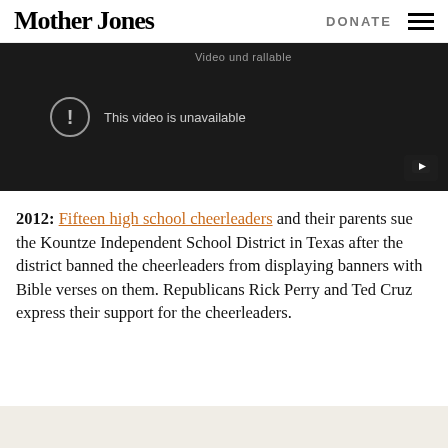Mother Jones | DONATE
[Figure (screenshot): Embedded YouTube video player showing 'This video is unavailable' error message on dark background]
2012: Fifteen high school cheerleaders and their parents sue the Kountze Independent School District in Texas after the district banned the cheerleaders from displaying banners with Bible verses on them. Republicans Rick Perry and Ted Cruz express their support for the cheerleaders.